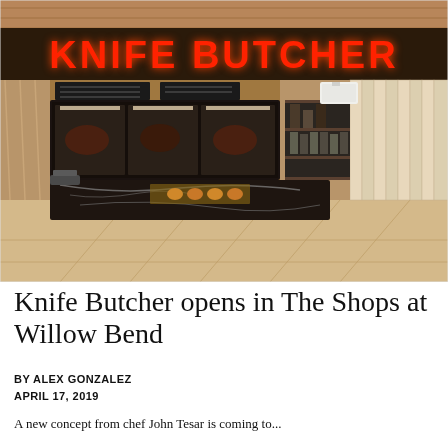[Figure (photo): Interior photo of Knife Butcher shop at The Shops at Willow Bend. Shows a modern butcher shop storefront with a large illuminated red neon 'KNIFE BUTCHER' sign above, dark marble display counter, refrigerated meat display cases with black menu boards above, shelving with products on the right wall, and light tile flooring in front.]
Knife Butcher opens in The Shops at Willow Bend
BY ALEX GONZALEZ
APRIL 17, 2019
A new concept from chef John Tesar is coming to...